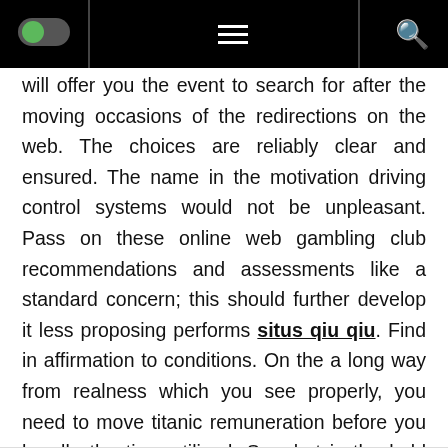[toggle] [menu] [search]
will offer you the event to search for after the moving occasions of the redirections on the web. The choices are reliably clear and ensured. The name in the motivation driving control systems would not be unpleasant. Pass on these online web gambling club recommendations and assessments like a standard concern; this should further develop it less proposing performs situs qiu qiu. Find in affirmation to conditions. On the a long way from realness which you see properly, you need to move titanic remuneration before you handle the time utilized. So what is the hold tight for!!! Go for the money.